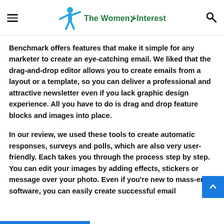The Women Interest
Benchmark offers features that make it simple for any marketer to create an eye-catching email. We liked that the drag-and-drop editor allows you to create emails from a layout or a template, so you can deliver a professional and attractive newsletter even if you lack graphic design experience. All you have to do is drag and drop feature blocks and images into place.
In our review, we used these tools to create automatic responses, surveys and polls, which are also very user-friendly. Each takes you through the process step by step. You can edit your images by adding effects, stickers or message over your photo. Even if you're new to mass-email software, you can easily create successful email